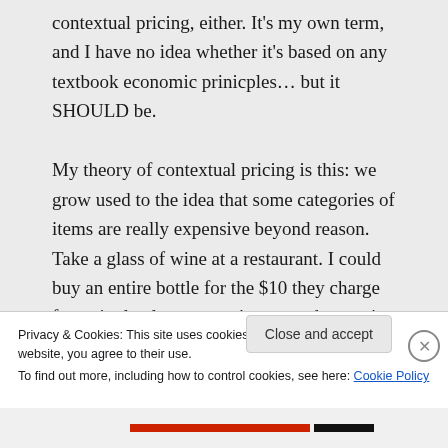contextual pricing, either. It's my own term, and I have no idea whether it's based on any textbook economic prinicples… but it SHOULD be.

My theory of contextual pricing is this: we grow used to the idea that some categories of items are really expensive beyond reason. Take a glass of wine at a restaurant. I could buy an entire bottle for the $10 they charge for a single glass, yet we're so used to paying inflated prices for
Privacy & Cookies: This site uses cookies. By continuing to use this website, you agree to their use.
To find out more, including how to control cookies, see here: Cookie Policy